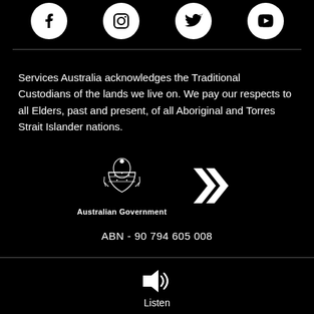[Figure (illustration): Row of four social media icons: Facebook, Instagram, Twitter, YouTube — white icons on black circular backgrounds]
Services Australia acknowledges the Traditional Custodians of the lands we live on. We pay our respects to all Elders, past and present, of all Aboriginal and Torres Strait Islander nations.
[Figure (logo): Australian Government coat of arms logo with text 'Australian Government' below, alongside a Services Australia double-chevron arrow logo]
ABN - 90 794 605 008
[Figure (illustration): Speaker/audio icon with sound waves]
Listen